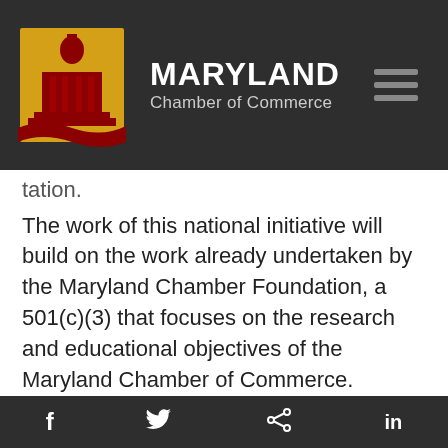[Figure (logo): Maryland Chamber of Commerce logo: gold rectangle with red state capitol building silhouette, beside bold white text MARYLAND and gray text Chamber of Commerce]
tation.
The work of this national initiative will build on the work already undertaken by the Maryland Chamber Foundation, a 501(c)(3) that focuses on the research and educational objectives of the Maryland Chamber of Commerce. “Maryland’s business community includes leaders who advocate for education, especially education that leads Marylanders of all backgrounds to high-skilled, high-wage jobs,” said Ross. “We are working diligently through our Foundation to make
f  🐦  share  in